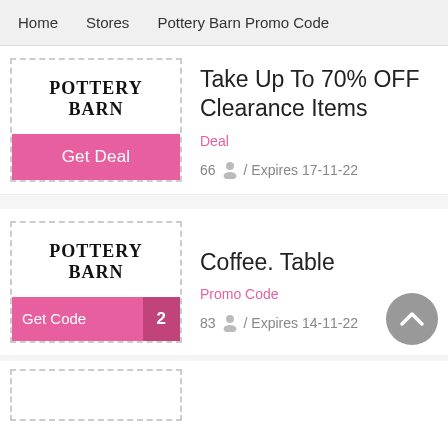Home   Stores   Pottery Barn Promo Code
[Figure (logo): Pottery Barn logo with dashed border and pink Get Deal button]
Take Up To 70% OFF Clearance Items
Deal
66 / Expires 17-11-22
[Figure (logo): Pottery Barn logo with dashed border and pink Get Code button showing number 2]
Coffee. Table
Promo Code
83 / Expires 14-11-22